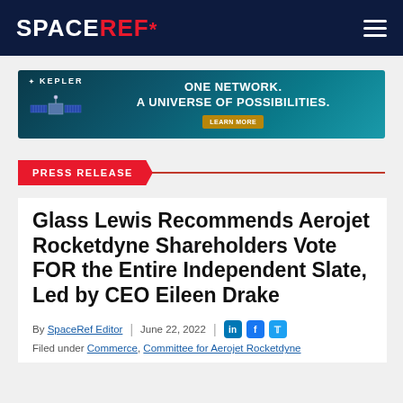SPACEREF*
[Figure (photo): Kepler satellite advertisement banner: 'ONE NETWORK. A UNIVERSE OF POSSIBILITIES.' with a Learn More button]
PRESS RELEASE
Glass Lewis Recommends Aerojet Rocketdyne Shareholders Vote FOR the Entire Independent Slate, Led by CEO Eileen Drake
By SpaceRef Editor | June 22, 2022
Filed under Commerce, Committee for Aerojet Rocketdyne